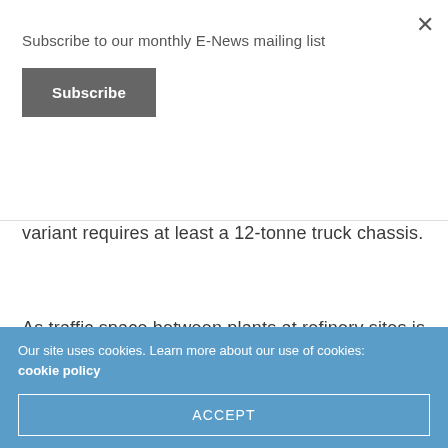Subscribe to our monthly E-News mailing list
Subscribe
variant requires at least a 12-tonne truck chassis.
As traffic space between plants at refinery sites is often very limited, manoeuvring large vehicles at these locations can be difficult. Therefore, Liberty Gasturbine Holland has made its TRS units 360 degrees rotatable. This increases the possibilities
Our site uses cookies. Learn more about our use of cookies: cookie policy
ACCEPT